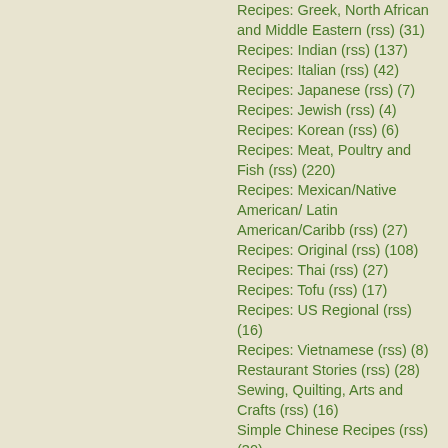Recipes: Greek, North African and Middle Eastern (rss) (31)
Recipes: Indian (rss) (137)
Recipes: Italian (rss) (42)
Recipes: Japanese (rss) (7)
Recipes: Jewish (rss) (4)
Recipes: Korean (rss) (6)
Recipes: Meat, Poultry and Fish (rss) (220)
Recipes: Mexican/Native American/ Latin American/Caribb (rss) (27)
Recipes: Original (rss) (108)
Recipes: Thai (rss) (27)
Recipes: Tofu (rss) (17)
Recipes: US Regional (rss) (16)
Recipes: Vietnamese (rss) (8)
Restaurant Stories (rss) (28)
Sewing, Quilting, Arts and Crafts (rss) (16)
Simple Chinese Recipes (rss) (30)
Slow Food and Heritage Foods (rss) (10)
Spice Blogging (rss) (44)
The Chinese Cookbook Project (rss) (14)
The Chinese Pantry (rss) (39)
The Documentary (rss) (2)
The Kitchen Saga (rss) (17)